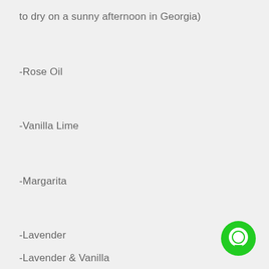to dry on a sunny afternoon in Georgia)
-Rose Oil
-Vanilla Lime
-Margarita
-Lavender
-Lavender & Vanilla
[Figure (logo): Green circular chat bubble icon in the bottom-right corner]